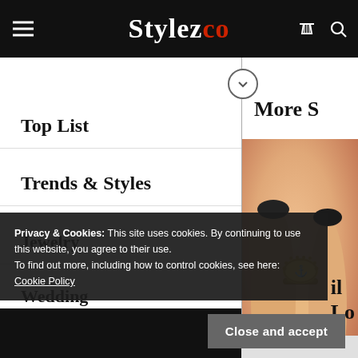Stylezco
Top List
Trends & Styles
Jewelry
Wedding
More S
[Figure (photo): Close-up photo of a hand with dark nail polish wearing a small gold signet ring with an engraved initial]
Privacy & Cookies: This site uses cookies. By continuing to use this website, you agree to their use.
To find out more, including how to control cookies, see here: Cookie Policy
Close and accept